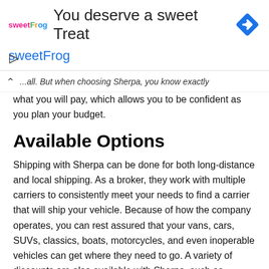[Figure (other): Advertisement banner for sweetFrog: logo on left, headline 'You deserve a sweet Treat', blue diamond arrow icon on right, subline 'sweetFrog' in blue, play button icon at bottom left.]
...all. But when choosing Sherpa, you know exactly what you will pay, which allows you to be confident as you plan your budget.
Available Options
Shipping with Sherpa can be done for both long-distance and local shipping. As a broker, they work with multiple carriers to consistently meet your needs to find a carrier that will ship your vehicle. Because of how the company operates, you can rest assured that your vans, cars, SUVs, classics, boats, motorcycles, and even inoperable vehicles can get where they need to go. A variety of discounts are also available with Sherpa, such as snowbird routes, multi-car discounts, and senior discounts. Students can also get reduced rates, as can military personnel. All